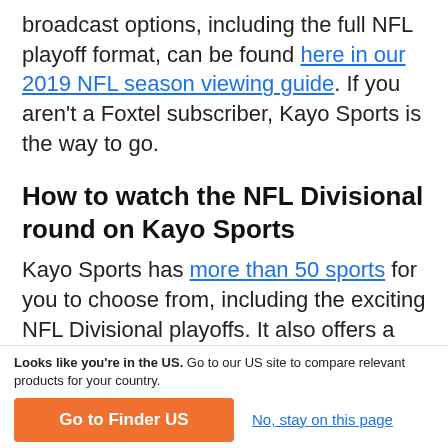broadcast options, including the full NFL playoff format, can be found here in our 2019 NFL season viewing guide. If you aren't a Foxtel subscriber, Kayo Sports is the way to go.
How to watch the NFL Divisional round on Kayo Sports
Kayo Sports has more than 50 sports for you to choose from, including the exciting NFL Divisional playoffs. It also offers a wide array of special features such as SplitView, where you can watch four sports at the same time. Other options include Interactive Stats,
Looks like you're in the US. Go to our US site to compare relevant products for your country.
Go to Finder US
No, stay on this page